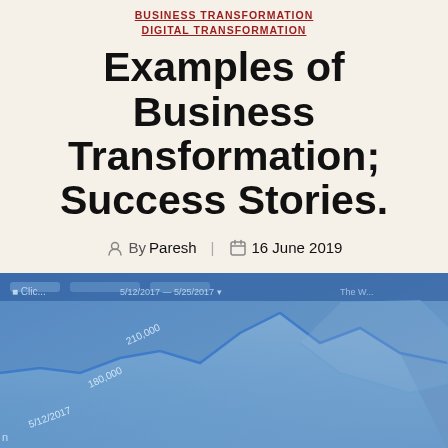BUSINESS TRANSFORMATION
DIGITAL TRANSFORMATION
Examples of Business Transformation; Success Stories.
By Paresh   16 June 2019
[Figure (photo): Close-up photo of a tablet or phone screen displaying a business analytics line chart with date range 5/12/2017 – 5/25/2017, showing values around 180,000 and 210,000]